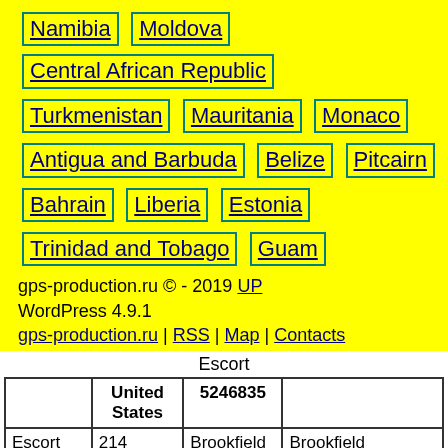Namibia | Moldova | Central African Republic
Turkmenistan | Mauritania | Monaco
Antigua and Barbuda | Belize | Pitcairn
Bahrain | Liberia | Estonia
Trinidad and Tobago | Guam
gps-production.ru © - 2019 UP
WordPress 4.9.1
gps-production.ru | RSS | Map | Contacts
Escort
|  | United States | 5246835 |  |
| --- | --- | --- | --- |
| Escort | 214 | Brookfield | Brookfield Prostitutes |
| Whores | 489 | yes | Facebook Login Required |